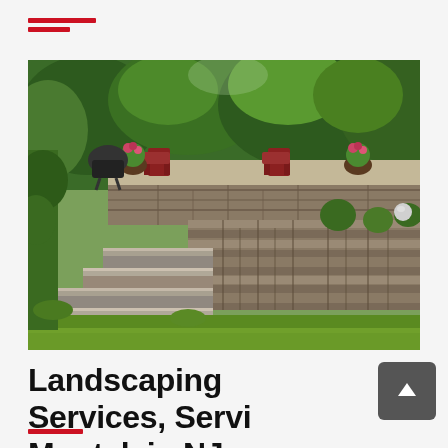[Figure (photo): Landscaped backyard garden with stone retaining wall, stone steps leading up to a patio area with Adirondack chairs and potted flowering plants, surrounded by lush green trees and shrubs, bright green grass lawn in foreground.]
Landscaping Services, Servi ng Montclair, NJ